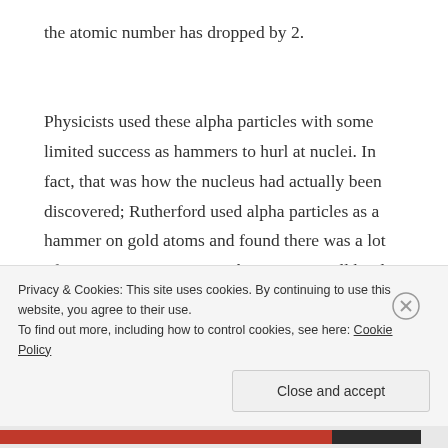the atomic number has dropped by 2.
Physicists used these alpha particles with some limited success as hammers to hurl at nuclei. In fact, that was how the nucleus had actually been discovered; Rutherford used alpha particles as a hammer on gold atoms and found there was a lot of empty space in an atom, but a very small hard kernel in the middle that
Privacy & Cookies: This site uses cookies. By continuing to use this website, you agree to their use.
To find out more, including how to control cookies, see here: Cookie Policy
Close and accept